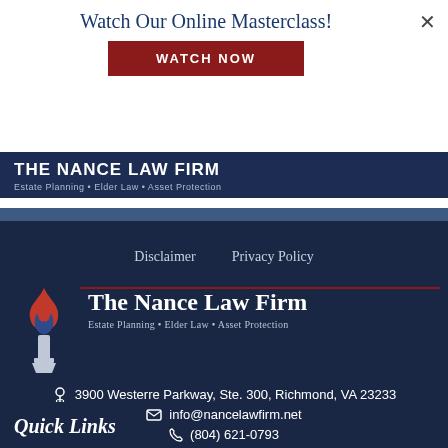Watch Our Online Masterclass!
WATCH NOW
THE NANCE LAW FIRM · Estate Planning · Elder Law · Asset Protection
Disclaimer    Privacy Policy
[Figure (logo): The Nance Law Firm logo with flame/torch graphic and text: The Nance Law Firm, Estate Planning · Elder Law · Asset Protection]
3900 Westerre Parkway, Ste. 300, Richmond, VA 23233
info@nancelawfirm.net
(804) 621-0793
Quick Links